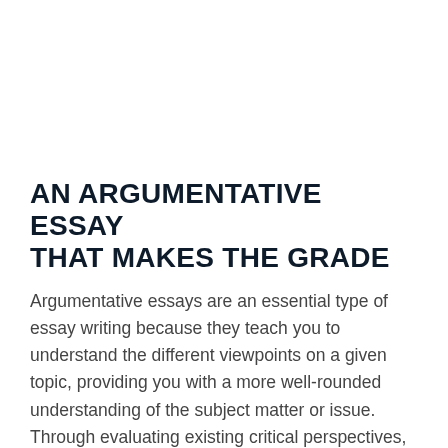AN ARGUMENTATIVE ESSAY THAT MAKES THE GRADE
Argumentative essays are an essential type of essay writing because they teach you to understand the different viewpoints on a given topic, providing you with a more well-rounded understanding of the subject matter or issue. Through evaluating existing critical perspectives, interpretations, or cause-and-effect statements and building them around a thesis statement (argument or opinion on it), the